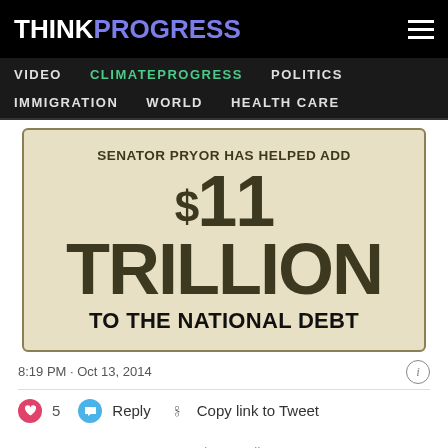THINKPROGRESS
VIDEO   CLIMATEPROGRESS   POLITICS   IMMIGRATION   WORLD   HEALTH CARE
[Figure (infographic): Infographic showing the text: 'SENATOR PRYOR HAS HELPED ADD $11 TRILLION TO THE NATIONAL DEBT' in large bold dark olive text on a beige background with an olive border]
8:19 PM · Oct 13, 2014
♥ 5   Reply   Copy link to Tweet
Read 12 replies